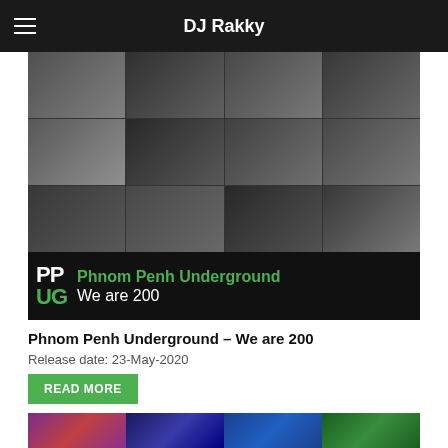DJ Rakky
[Figure (photo): Collage of black and white photos of DJs performing, with a banner at the bottom showing the Phnom Penh Underground logo and text 'Phnom Penh Underground – We are 200']
Phnom Penh Underground – We are 200
Release date: 23-May-2020
READ MORE
[Figure (photo): Colorful photo strip of DJs performing at a club event with colored stage lights]